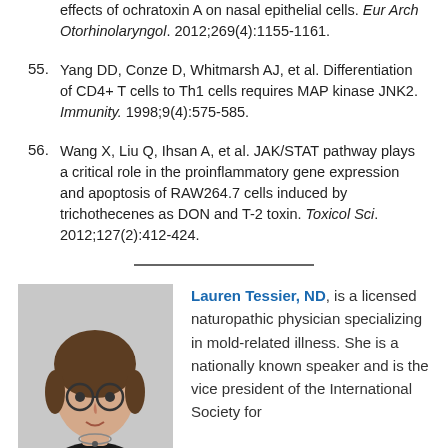effects of ochratoxin A on nasal epithelial cells. Eur Arch Otorhinolaryngol. 2012;269(4):1155-1161.
55. Yang DD, Conze D, Whitmarsh AJ, et al. Differentiation of CD4+ T cells to Th1 cells requires MAP kinase JNK2. Immunity. 1998;9(4):575-585.
56. Wang X, Liu Q, Ihsan A, et al. JAK/STAT pathway plays a critical role in the proinflammatory gene expression and apoptosis of RAW264.7 cells induced by trichothecenes as DON and T-2 toxin. Toxicol Sci. 2012;127(2):412-424.
[Figure (photo): Portrait photo of Lauren Tessier, ND — a woman with brown hair pulled back, wearing round glasses and a black top with a necklace, photographed against a light gray background.]
Lauren Tessier, ND, is a licensed naturopathic physician specializing in mold-related illness. She is a nationally known speaker and is the vice president of the International Society for Environmentally Acquired Illness (ISEAI) – a non-profit dedicated to educating physicians about the diagnosis...